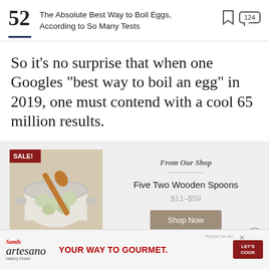52 The Absolute Best Way to Boil Eggs, According to So Many Tests [bookmark] [124 comments]
So it’s no surprise that when one Googles “best way to boil an egg” in 2019, one must contend with a cool 65 million results.
[Figure (photo): A white enamel pot with boiling eggs and a wooden spoon, seen from above on a linen cloth. SALE! badge in top-left corner.]
From Our Shop
Five Two Wooden Spoons
$11–$59
Shop Now
[Figure (advertisement): Artesano bakery bread ad: 'YOUR WAY TO GOURMET.' with Let's Cook button and Report ad link.]